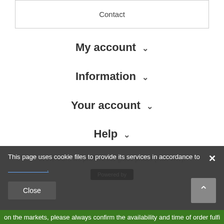Contact
My account ˅
Information ˅
Your account ˅
Help ˅
In the store we present the gross prices (incl. VAT).
Powered by
This page uses cookie files to provide its services in accordance to
Close
on the markets, please always confirm the availability and time of order fulfi...